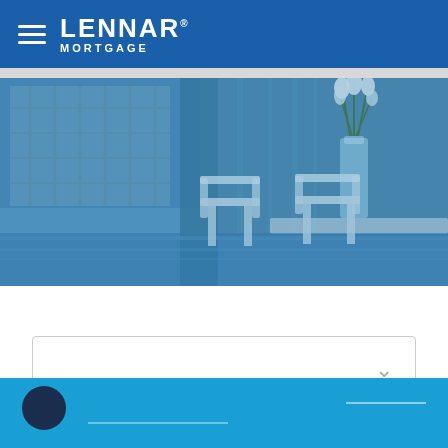Lennar Mortgage
[Figure (photo): Blue-tinted outdoor porch scene with white chairs, a glass vase with white tulips, and a pool area visible in the background. The image has a blue color overlay.]
[Figure (other): Dropdown selector UI element with a chevron/down arrow on the right side]
Footer navigation area with dark circle button and underline links